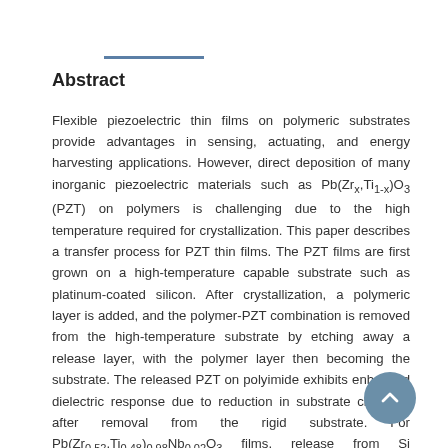Abstract
Flexible piezoelectric thin films on polymeric substrates provide advantages in sensing, actuating, and energy harvesting applications. However, direct deposition of many inorganic piezoelectric materials such as Pb(Zrx,Ti1-x)O3 (PZT) on polymers is challenging due to the high temperature required for crystallization. This paper describes a transfer process for PZT thin films. The PZT films are first grown on a high-temperature capable substrate such as platinum-coated silicon. After crystallization, a polymeric layer is added, and the polymer-PZT combination is removed from the high-temperature substrate by etching away a release layer, with the polymer layer then becoming the substrate. The released PZT on polyimide exhibits enhanced dielectric response due to reduction in substrate clamping after removal from the rigid substrate. For Pb(Zr0.52,Ti0.48)0.98Nb0.02O3 films, release from Si increased the remanent polarization from 17.5 μC/cm2 to 26 μC/cm2. In addition, poling led to increased ferroelastic/ferroelectric